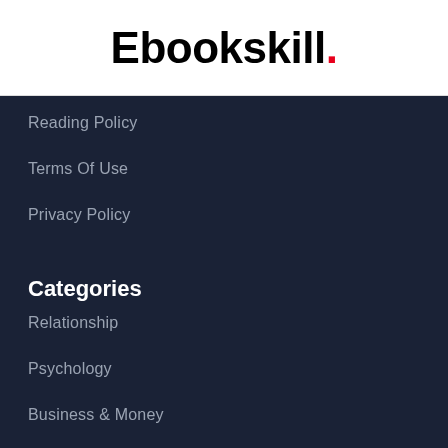Ebookskill.
Reading Policy
Terms Of Use
Privacy Policy
Categories
Relationship
Psychology
Business & Money
Romance